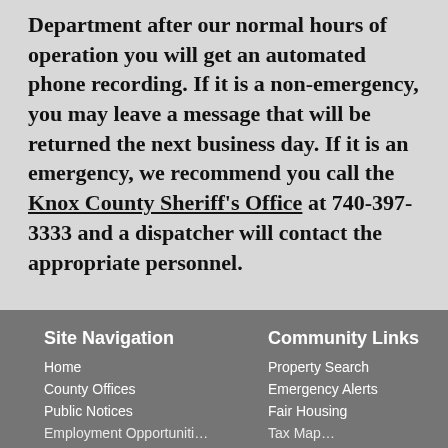Department after our normal hours of operation you will get an automated phone recording. If it is a non-emergency, you may leave a message that will be returned the next business day. If it is an emergency, we recommend you call the Knox County Sheriff's Office at 740-397-3333 and a dispatcher will contact the appropriate personnel.
Site Navigation
Community Links
Home
County Offices
Public Notices
Property Search
Emergency Alerts
Fair Housing